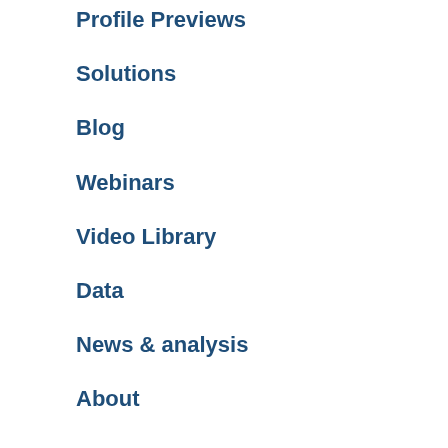Profile Previews
Solutions
Blog
Webinars
Video Library
Data
News & analysis
About
Follow us
[Figure (other): Five social media icon dots in a row]